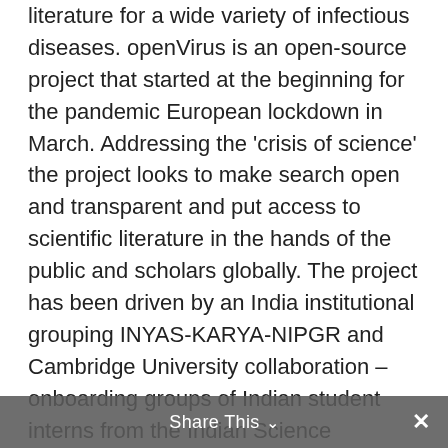literature for a wide variety of infectious diseases. openVirus is an open-source project that started at the beginning for the pandemic European lockdown in March. Addressing the 'crisis of science' the project looks to make search open and transparent and put access to scientific literature in the hands of the public and scholars globally. The project has been driven by an India institutional grouping INYAS-KARYA-NIPGR and Cambridge University collaboration – onboarding groups of Indian student interns from the Indian Science Academies. Together with the openVirus project leader Peter Murry-Rust they have brought the
Share This